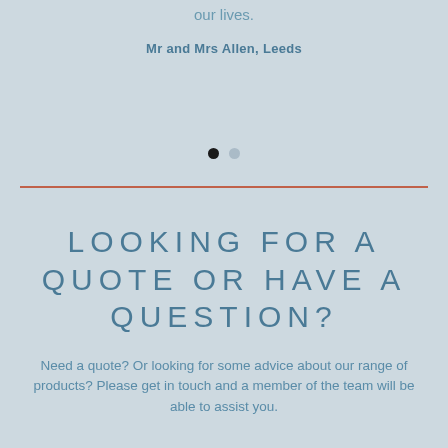our lives.
Mr and Mrs Allen, Leeds
[Figure (other): Carousel navigation dots: one filled black dot and one grey empty dot]
LOOKING FOR A QUOTE OR HAVE A QUESTION?
Need a quote? Or looking for some advice about our range of products? Please get in touch and a member of the team will be able to assist you.